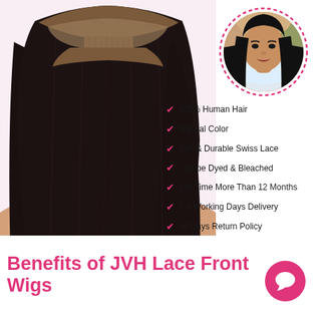[Figure (photo): Back view of a lace front wig on a mannequin head, showing dark straight hair and brown lace cap]
[Figure (photo): Circular portrait photo with pink dashed border of a young woman wearing the lace front wig, straight long black hair]
100% Human Hair
Natural Color
Soft & Durable Swiss Lace
Can be Dyed & Bleached
Life Time More Than 12 Months
3-5 Working Days Delivery
30 Days Return Policy
Benefits of JVH Lace Front Wigs